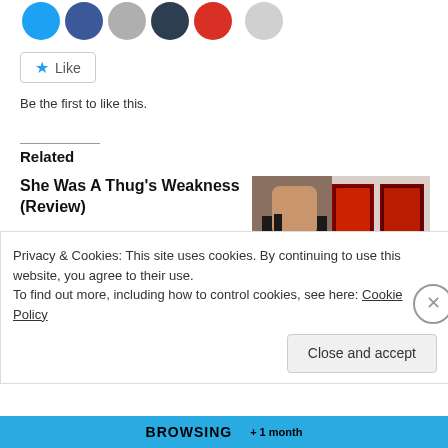[Figure (illustration): Row of social sharing icon circles: blue (Twitter), blue (Facebook), dark blue-grey, dark navy, red, light grey]
Like
Be the first to like this.
Related
She Was A Thug's Weakness (Review)
Book Review: Check out the book Here Author Santana creates this story of pure edge of your seat madness. From the beginning of the
September 16, 2019
[Figure (photo): Book covers photo showing woman's back in black outfit and two book covers with dramatic urban fiction artwork]
Author Thai (Spotlight)
October 14, 2019
In "Brain Dump"
Privacy & Cookies: This site uses cookies. By continuing to use this website, you agree to their use.
To find out more, including how to control cookies, see here: Cookie Policy
Close and accept